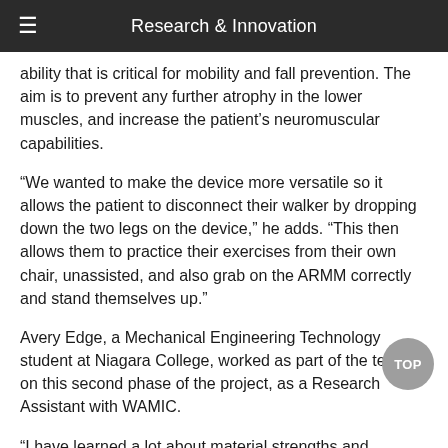Research & Innovation
ability that is critical for mobility and fall prevention. The aim is to prevent any further atrophy in the lower muscles, and increase the patient’s neuromuscular capabilities.
“We wanted to make the device more versatile so it allows the patient to disconnect their walker by dropping down the two legs on the device,” he adds. “This then allows them to practice their exercises from their own chair, unassisted, and also grab on the ARMM correctly and stand themselves up.”
Avery Edge, a Mechanical Engineering Technology student at Niagara College, worked as part of the team on this second phase of the project, as a Research Assistant with WAMIC.
“I have learned a lot about material strengths and